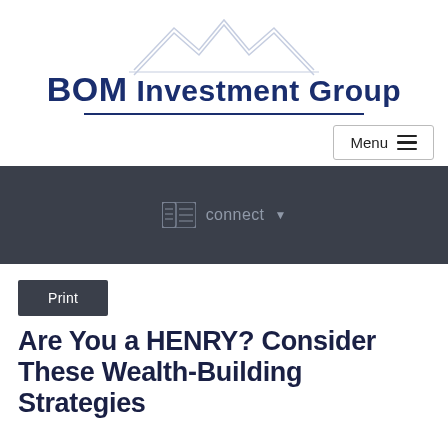[Figure (logo): BOM Investment Group logo with mountain peaks graphic above the text and a horizontal line below]
Menu
[Figure (infographic): Dark gray navigation bar with a connect button and dropdown arrow icon]
Print
Are You a HENRY? Consider These Wealth-Building Strategies